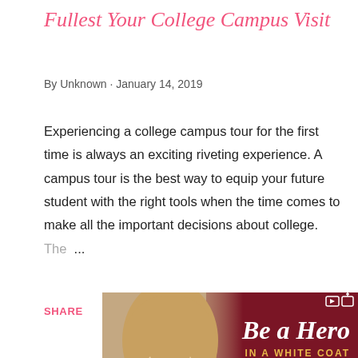Fullest Your College Campus Visit
By Unknown · January 14, 2019
Experiencing a college campus tour for the first time is always an exciting riveting experience. A campus tour is the best way to equip your future student with the right tools when the time comes to make all the important decisions about college. The ...
SHARE   POST A COMMENT   READ MORE
[Figure (photo): Advertisement showing a young woman smiling with text 'Be a Hero IN A WHITE COAT' and UC logo on a dark red background]